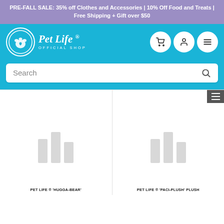PRE-FALL SALE: 35% off Clothes and Accessories | 10% Off Food and Treats | Free Shipping + Gift over $50
[Figure (logo): Pet Life Official Shop logo with circular paw print emblem and italic script text on blue background with navigation icons (cart, user, menu)]
Search
PET LIFE ® 'HUGGA-BEAR'
PET LIFE ® 'PACI-PLUSH' PLUSH